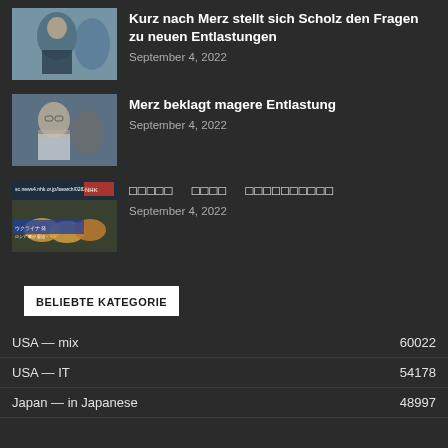[Figure (photo): Man in suit gesturing with hands, speaking]
Kurz nach Merz stellt sich Scholz den Fragen zu neuen Entlastungen
September 4, 2022
[Figure (photo): Man with glasses in white shirt being interviewed]
Merz beklagt magere Entlastung
September 4, 2022
[Figure (screenshot): Japanese news broadcast screenshot with food items]
□□□□□   □□□□   □□□□□□□□□□
September 4, 2022
BELIEBTE KATEGORIE
USA — mix   60022
USA — IT   54178
Japan — in Japanese   48997